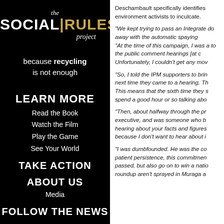[Figure (logo): The Social Rules Project logo with tagline 'because recycling is not enough']
LEARN MORE
Read the Book
Watch the Film
Play the Game
See Your World
TAKE ACTION
ABOUT US
Media
FOLLOW THE NEWS
Deschambault specifically identifies environment activists to inculcate.
“We kept trying to pass an Integrated do away with the automatic spaying “At the time of this campaign, I was to the public comment hearings [at c Unfortunately, I couldn’t get any mov
“So, I told the IPM supporters to brin next time they came to a hearing. Th This means that the sixth time they s spend a good hour or so talking abo
“Then, about halfway through the pr executive, and was someone who b hearing about your facts and figures because I don’t want to hear about i
“I was dumbfounded. He was the co patient persistence, this commitmen passed, but also go on to win a natio roundup aren’t sprayed in Muraga a